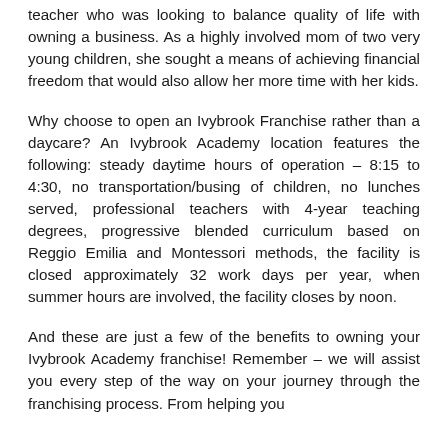teacher who was looking to balance quality of life with owning a business. As a highly involved mom of two very young children, she sought a means of achieving financial freedom that would also allow her more time with her kids.
Why choose to open an Ivybrook Franchise rather than a daycare? An Ivybrook Academy location features the following: steady daytime hours of operation – 8:15 to 4:30, no transportation/busing of children, no lunches served, professional teachers with 4-year teaching degrees, progressive blended curriculum based on Reggio Emilia and Montessori methods, the facility is closed approximately 32 work days per year, when summer hours are involved, the facility closes by noon.
And these are just a few of the benefits to owning your Ivybrook Academy franchise! Remember – we will assist you every step of the way on your journey through the franchising process. From helping you